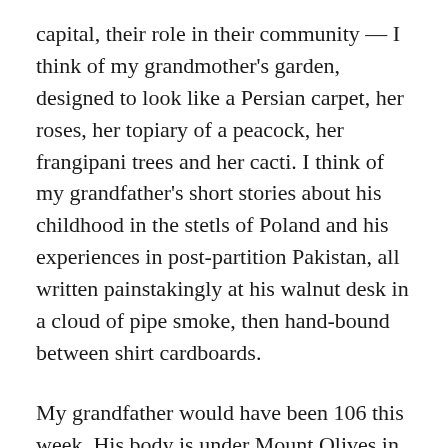capital, their role in their community — I think of my grandmother's garden, designed to look like a Persian carpet, her roses, her topiary of a peacock, her frangipani trees and her cacti. I think of my grandfather's short stories about his childhood in the stetls of Poland and his experiences in post-partition Pakistan, all written painstakingly at his walnut desk in a cloud of pipe smoke, then hand-bound between shirt cardboards.
My grandfather would have been 106 this week. His body is under Mount Olives in Jerusalem. His house is occupied by strangers. His friends and siblings are but dust. But his stories live on in the archives of the Leo Baeck